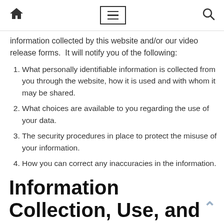Home | Menu | Search
information collected by this website and/or our video release forms.  It will notify you of the following:
What personally identifiable information is collected from you through the website, how it is used and with whom it may be shared.
What choices are available to you regarding the use of your data.
The security procedures in place to protect the misuse of your information.
How you can correct any inaccuracies in the information.
Information Collection, Use, and